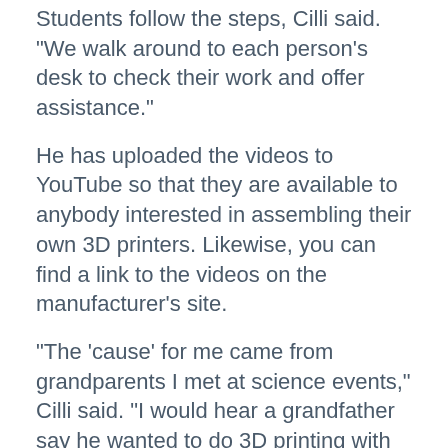Students follow the steps, Cilli said. "We walk around to each person's desk to check their work and offer assistance."
He has uploaded the videos to YouTube so that they are available to anybody interested in assembling their own 3D printers. Likewise, you can find a link to the videos on the manufacturer's site.
"The 'cause' for me came from grandparents I met at science events," Cilli said. "I would hear a grandfather say he wanted to do 3D printing with his grandson, but didn't know where to start."
With the videos on YouTube, he said, that can happen more easily.
"When I was young, my dad and grandfather